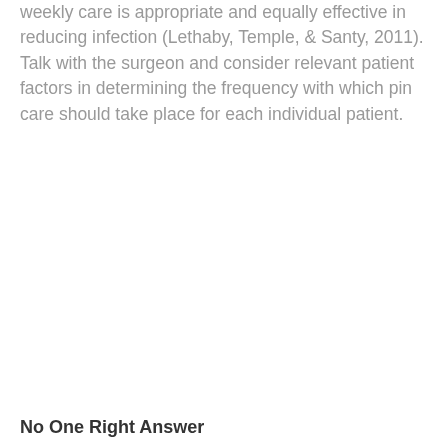weekly care is appropriate and equally effective in reducing infection (Lethaby, Temple, & Santy, 2011). Talk with the surgeon and consider relevant patient factors in determining the frequency with which pin care should take place for each individual patient.
No One Right Answer